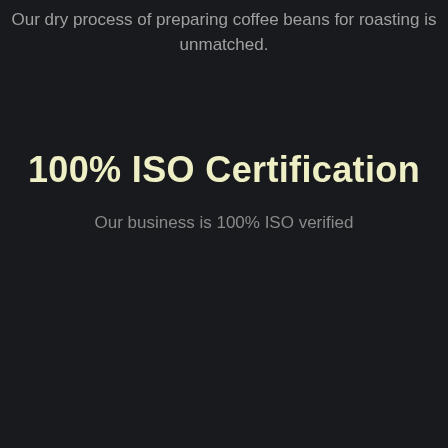Our dry process of preparing coffee beans for roasting is unmatched.
100% ISO Certification
Our business is 100% ISO verified